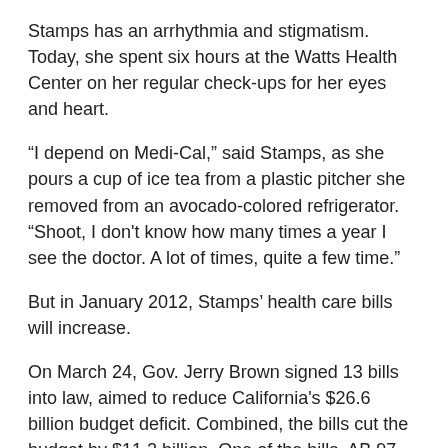Stamps has an arrhythmia and stigmatism. Today, she spent six hours at the Watts Health Center on her regular check-ups for her eyes and heart.
“I depend on Medi-Cal,” said Stamps, as she pours a cup of ice tea from a plastic pitcher she removed from an avocado-colored refrigerator. “Shoot, I don’t know how many times a year I see the doctor. A lot of times, quite a few time.”
But in January 2012, Stamps’ health care bills will increase.
On March 24, Gov. Jerry Brown signed 13 bills into law, aimed to reduce California’s $26.6 billion budget deficit. Combined, the bills cut the budget by $11.2 billion. One of the bills, AB 97, affects Medi-Cal, California’s version of the federal Medicaid program.
Medi-Cal offers health insurance to the elderly, those below the poverty line and the disabled.
The governor’s office projects the cuts will save the state $557 million. Health care activists, however, say the cuts will significantly